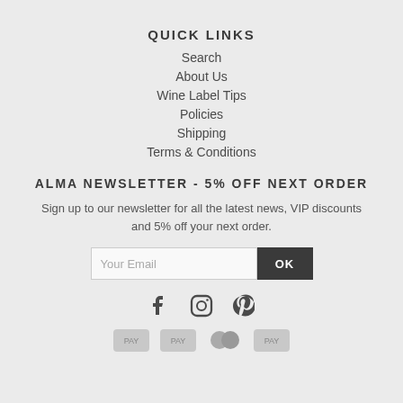QUICK LINKS
Search
About Us
Wine Label Tips
Policies
Shipping
Terms & Conditions
ALMA NEWSLETTER - 5% OFF NEXT ORDER
Sign up to our newsletter for all the latest news, VIP discounts and 5% off your next order.
[Figure (other): Email input field with placeholder 'Your Email' and an OK button]
[Figure (other): Social media icons: Facebook, Instagram, Pinterest]
[Figure (other): Payment method icons at the bottom of the page]